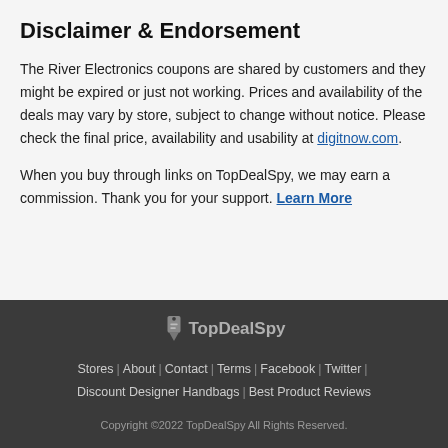Disclaimer & Endorsement
The River Electronics coupons are shared by customers and they might be expired or just not working. Prices and availability of the deals may vary by store, subject to change without notice. Please check the final price, availability and usability at digitnow.com.
When you buy through links on TopDealSpy, we may earn a commission. Thank you for your support. Learn More
[Figure (logo): TopDealSpy logo with tag icon and gray text]
Stores | About | Contact | Terms | Facebook | Twitter | Discount Designer Handbags | Best Product Reviews
Copyright ©2022 TopDealSpy All Rights Reserved.